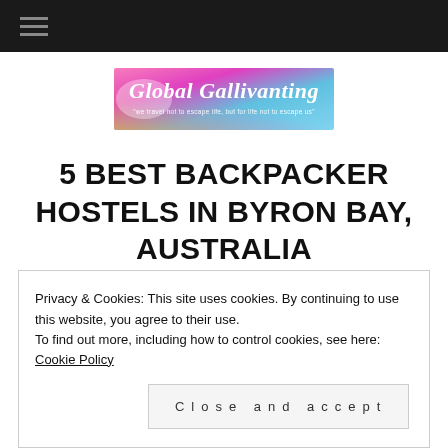[Figure (logo): Global Gallivanting blog logo with colorful watercolor background and script text reading 'Global Gallivanting' with tagline 'we travel not to escape life, but for life not to escape us']
5 BEST BACKPACKER HOSTELS IN BYRON BAY, AUSTRALIA
Privacy & Cookies: This site uses cookies. By continuing to use this website, you agree to their use.
To find out more, including how to control cookies, see here: Cookie Policy
Close and accept